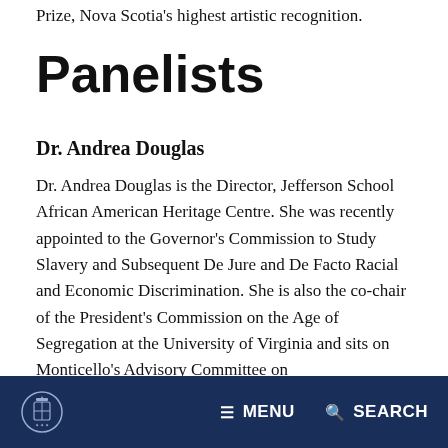Prize, Nova Scotia's highest artistic recognition.
Panelists
Dr. Andrea Douglas
Dr. Andrea Douglas is the Director, Jefferson School African American Heritage Centre. She was recently appointed to the Governor's Commission to Study Slavery and Subsequent De Jure and De Facto Racial and Economic Discrimination. She is also the co-chair of the President's Commission on the Age of Segregation at the University of Virginia and sits on Monticello's Advisory Committee on
MENU  SEARCH